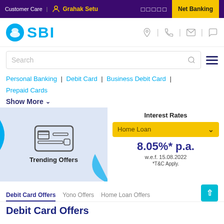Customer Care | Grahak Setu | Net Banking
[Figure (logo): SBI (State Bank of India) logo with blue circle and SBI text in cyan]
Search
Personal Banking | Debit Card | Business Debit Card | Prepaid Cards
Show More
[Figure (illustration): Trending Offers panel with credit card icon on light blue background]
Interest Rates
Home Loan
8.05%* p.a.
w.e.f. 15.08.2022
*T&C Apply.
Debit Card Offers   Yono Offers   Home Loan Offers
Debit Card Offers